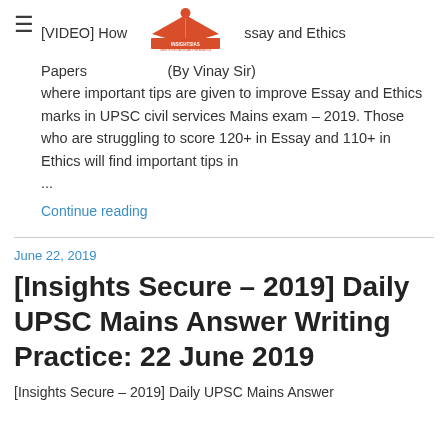[VIDEO] How to Approach Essay and Ethics Papers (By Vinay Sir) where important tips are given to improve Essay and Ethics marks in UPSC civil services Mains exam – 2019. Those who are struggling to score 120+ in Essay and 110+ in Ethics will find important tips in ...
Continue reading
June 22, 2019
[Insights Secure – 2019] Daily UPSC Mains Answer Writing Practice: 22 June 2019
[Insights Secure – 2019] Daily UPSC Mains Answer